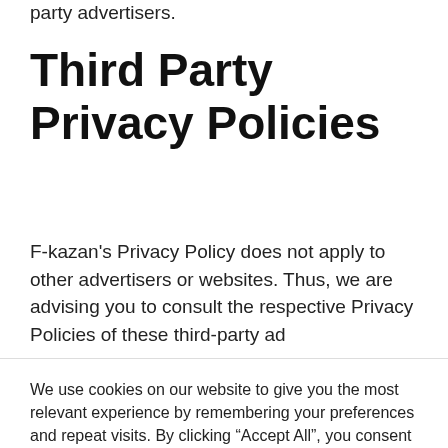party advertisers.
Third Party Privacy Policies
F-kazan's Privacy Policy does not apply to other advertisers or websites. Thus, we are advising you to consult the respective Privacy Policies of these third-party ad
We use cookies on our website to give you the most relevant experience by remembering your preferences and repeat visits. By clicking “Accept All”, you consent to the use of ALL the cookies. However, you may visit "Cookie Settings" to provide a controlled consent.